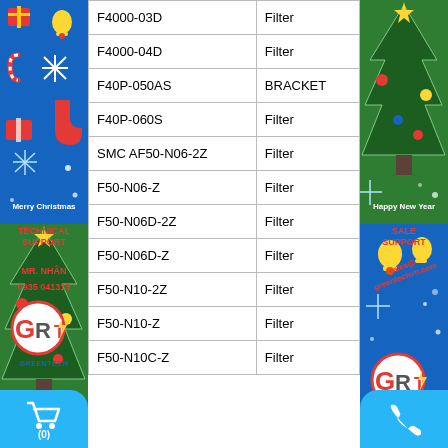| Product Code | Type |
| --- | --- |
| F4000-03D | Filter |
| F4000-04D | Filter |
| F40P-050AS | BRACKET |
| F40P-060S | Filter |
| SMC AF50-N06-2Z | Filter |
| F50-N06-Z | Filter |
| F50-N06D-2Z | Filter |
| F50-N06D-Z | Filter |
| F50-N10-2Z | Filter |
| F50-N10-Z | Filter |
| F50-N10C-Z | Filter |
TECHNICAL SUPPORT
SALE SUPPORT
MR. NHÂN
0935 041313
sales@greentechvn.com
Merry Christmas
Happy New Year
[Figure (logo): GRT Greentech logo left]
[Figure (logo): GRT Greentech logo right]
[Figure (illustration): Shopping cart icon with count (0)]
[Figure (illustration): Phone icon bottom right]